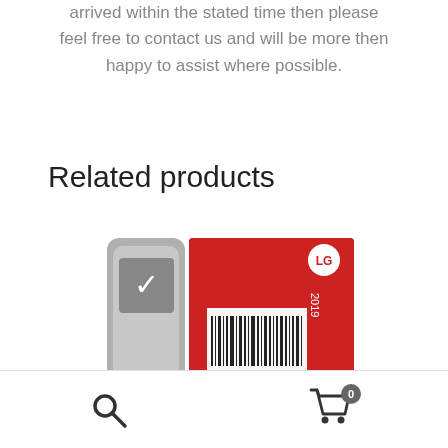arrived within the stated time then please feel free to contact us and will be more then happy to assist where possible.
Related products
[Figure (photo): Product photo showing an LG remote control (silver/grey) in plastic packaging next to a red LG branded box with text 'OL TRANSM' and '(SVC F' visible, with a barcode label on the box. The box shows '2019' and the LG logo.]
[Figure (other): Bottom navigation bar with search icon (magnifying glass) on the left and shopping cart icon with badge showing '0' on the right.]